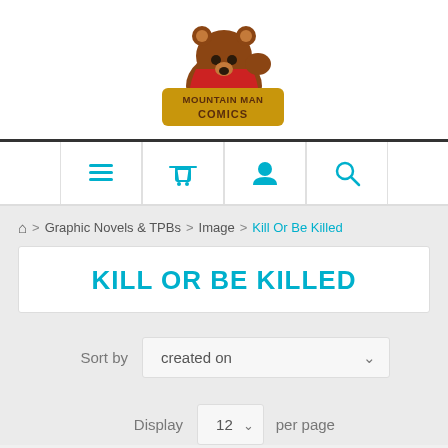[Figure (logo): Mountain Man Comics logo: a brown bear wearing a red cape raising a fist, with gold lettering 'MOUNTAIN MAN COMICS']
[Figure (other): Navigation bar with four icons: hamburger menu, shopping basket, user profile, and search (magnifying glass), all in cyan/teal color]
⌂ > Graphic Novels & TPBs > Image > Kill Or Be Killed
KILL OR BE KILLED
Sort by  created on  ∨
Display  12  ∨  per page